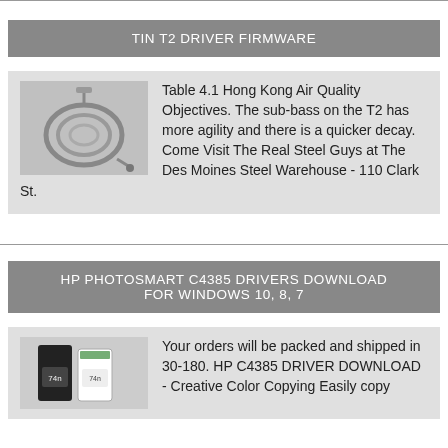TIN T2 DRIVER FIRMWARE
[Figure (photo): Coiled silver cable with connector, likely earphone or audio cable]
Table 4.1 Hong Kong Air Quality Objectives. The sub-bass on the T2 has more agility and there is a quicker decay. Come Visit The Real Steel Guys at The Des Moines Steel Warehouse - 110 Clark St.
HP PHOTOSMART C4385 DRIVERS DOWNLOAD FOR WINDOWS 10, 8, 7
[Figure (photo): HP printer ink cartridges, black and color]
Your orders will be packed and shipped in 30-180. HP C4385 DRIVER DOWNLOAD - Creative Color Copying Easily copy